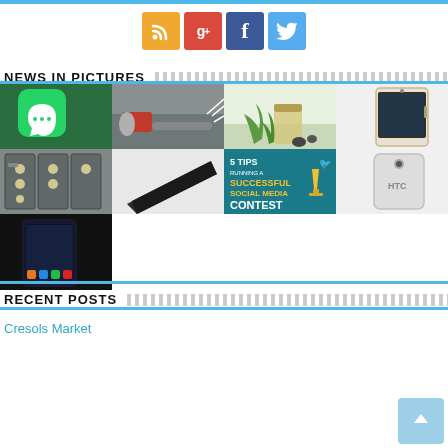[Figure (other): Social media icons row: RSS (orange), Google+ (red), Facebook (blue), Twitter (light blue)]
NEWS IN PICTURES
[Figure (other): News in pictures grid: WhatsApp icon on green background, fire hose/truck, herbal/natural products, Samsung Galaxy Note phone, electrical panels/meters, sleek tablet device, 5 Tips Running a Successful Social Media Contest graphic, HTC phone, dark phone with screen on]
RECENT POSTS
Cresols Market